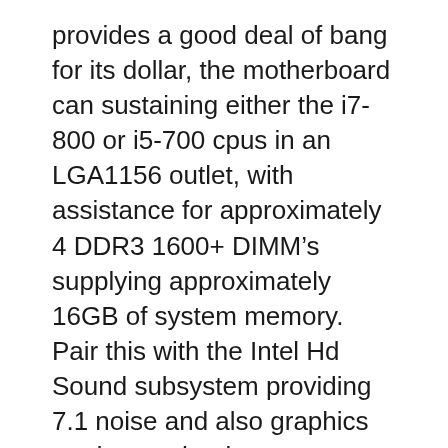provides a good deal of bang for its dollar, the motherboard can sustaining either the i7-800 or i5-700 cpus in an LGA1156 outlet, with assistance for approximately 4 DDR3 1600+ DIMM’s supplying approximately 16GB of system memory. Pair this with the Intel Hd Sound subsystem providing 7.1 noise and also graphics modern technology assistance for either Nvidia SLI or ATI CrossFire permitting 2 graphics cards to interact and also you obtain the utmost in 3D video gaming efficiency as well as aesthetic high quality.
The P5N-D, a NVIDIA 750i SLI based chipset motherboard has a mix of effective efficiency plus exceptional power conserving effectiveness as well as includes the globe’s